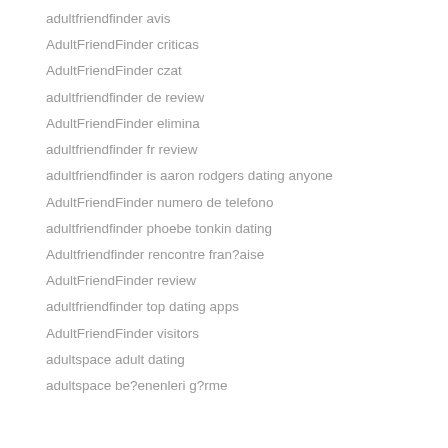adultfriendfinder avis
AdultFriendFinder criticas
AdultFriendFinder czat
adultfriendfinder de review
AdultFriendFinder elimina
adultfriendfinder fr review
adultfriendfinder is aaron rodgers dating anyone
AdultFriendFinder numero de telefono
adultfriendfinder phoebe tonkin dating
Adultfriendfinder rencontre fran?aise
AdultFriendFinder review
adultfriendfinder top dating apps
AdultFriendFinder visitors
adultspace adult dating
adultspace be?enenleri g?rme